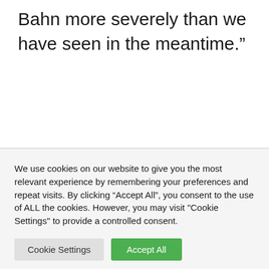Bahn more severely than we have seen in the meantime.”
We use cookies on our website to give you the most relevant experience by remembering your preferences and repeat visits. By clicking “Accept All”, you consent to the use of ALL the cookies. However, you may visit "Cookie Settings" to provide a controlled consent.